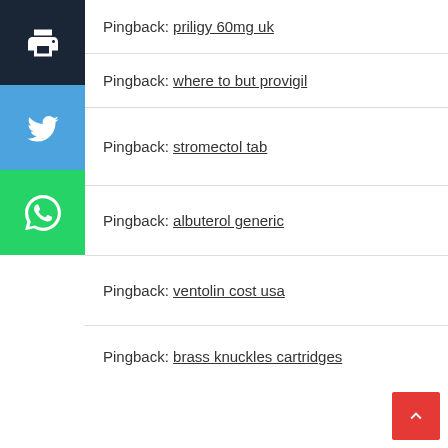[Figure (other): Dark sidebar with print icon button]
[Figure (other): Blue sidebar Twitter icon button]
[Figure (other): Green sidebar WhatsApp icon button]
Pingback: priligy 60mg uk
Pingback: where to but provigil
Pingback: stromectol tab
Pingback: albuterol generic
Pingback: ventolin cost usa
Pingback: brass knuckles cartridges